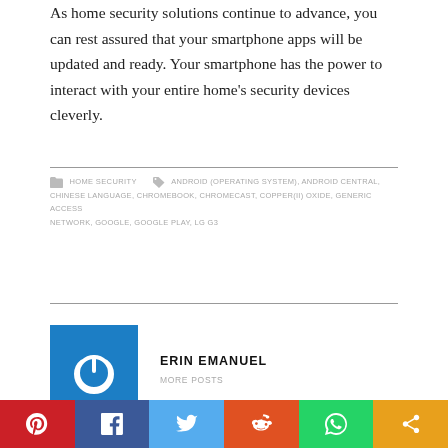As home security solutions continue to advance, you can rest assured that your smartphone apps will be updated and ready. Your smartphone has the power to interact with your entire home's security devices cleverly.
HOME SECURITY   ANDROID (OPERATING SYSTEM), ANDROID CENTRAL, CHINESE LANGUAGE, CHROMEBOOK, CHROMECAST, COPPER(II) OXIDE, GENERIC ACCESS NETWORK, GOOGLE, GOOGLE PLAY, LG G3
[Figure (photo): Author avatar - blue square with power button icon]
ERIN EMANUEL
MORE POSTS
[Figure (infographic): Social share bar with Pinterest, Facebook, Twitter, Reddit, WhatsApp, and share buttons]